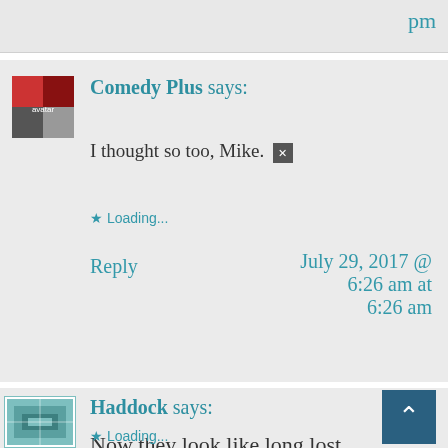pm
Comedy Plus says:
I thought so too, Mike. [x]
Loading...
Reply
July 29, 2017 @ 6:26 am at 6:26 am
Haddock says:
Now they look like long lost buddies.
Loading...